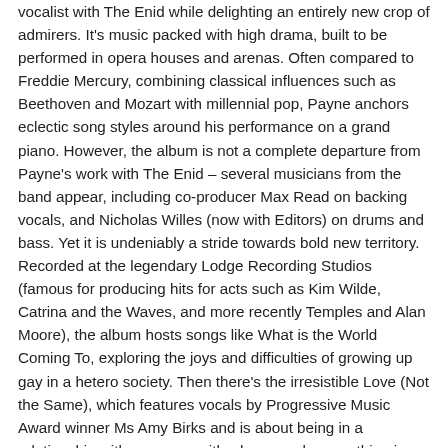vocalist with The Enid while delighting an entirely new crop of admirers. It's music packed with high drama, built to be performed in opera houses and arenas. Often compared to Freddie Mercury, combining classical influences such as Beethoven and Mozart with millennial pop, Payne anchors eclectic song styles around his performance on a grand piano. However, the album is not a complete departure from Payne's work with The Enid – several musicians from the band appear, including co-producer Max Read on backing vocals, and Nicholas Willes (now with Editors) on drums and bass. Yet it is undeniably a stride towards bold new territory. Recorded at the legendary Lodge Recording Studios (famous for producing hits for acts such as Kim Wilde, Catrina and the Waves, and more recently Temples and Alan Moore), the album hosts songs like What is the World Coming To, exploring the joys and difficulties of growing up gay in a hetero society. Then there's the irresistible Love (Not the Same), which features vocals by Progressive Music Award winner Ms Amy Birks and is about being in a relationship with someone with whom you have nothing in common. Weaving triumph from trauma, the title track By Name. By Nature turns Payne's experiences – receiving hate mail from disgruntled Enid fans, being put down as a small boy by a mean teacher, and being gaslit as an adult – into an astonishing prog/pop mlange. Nice Boy explores the pressures of being put on a pedestal as the great new hope of an aging